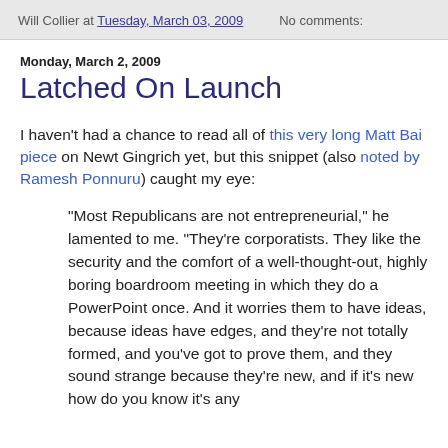Will Collier at Tuesday, March 03, 2009   No comments:
Monday, March 2, 2009
Latched On Launch
I haven't had a chance to read all of this very long Matt Bai piece on Newt Gingrich yet, but this snippet (also noted by Ramesh Ponnuru) caught my eye:
"Most Republicans are not entrepreneurial," he lamented to me. "They're corporatists. They like the security and the comfort of a well-thought-out, highly boring boardroom meeting in which they do a PowerPoint once. And it worries them to have ideas, because ideas have edges, and they're not totally formed, and you've got to prove them, and they sound strange because they're new, and if it's new how do you know it's any